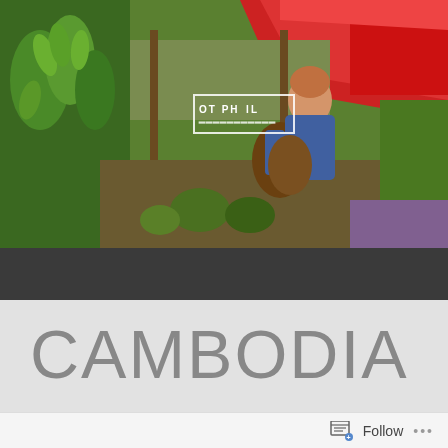[Figure (photo): Outdoor market scene with a child holding a large fruit/vegetable, bananas hanging on the left, red umbrella top-right, green tropical foliage in the background. A white-bordered logo reading 'OT PHIL' is overlaid in the center of the photo.]
CAMBODIA
WELL AND WE REACHED THE CAMBODIAN BORDER
Follow